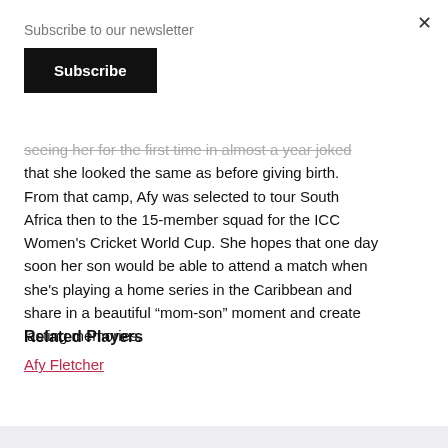Subscribe to our newsletter
Subscribe
seeing her for the first time in almost a year joked that she looked the same as before giving birth. From that camp, Afy was selected to tour South Africa then to the 15-member squad for the ICC Women's Cricket World Cup. She hopes that one day soon her son would be able to attend a match when she's playing a home series in the Caribbean and share in a beautiful “mom-son” moment and create lasting memories.
Related Players
Afy Fletcher